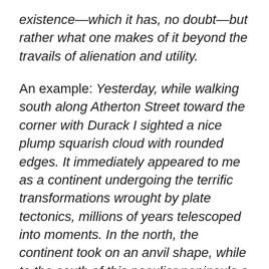existence—which it has, no doubt—but rather what one makes of it beyond the travails of alienation and utility.
An example: Yesterday, while walking south along Atherton Street toward the corner with Durack I sighted a nice plump squarish cloud with rounded edges. It immediately appeared to me as a continent undergoing the terrific transformations wrought by plate tectonics, millions of years telescoped into moments. In the north, the continent took on an anvil shape, while to the south of this peculiar peninsula a vast river delta opened. To the south east an archipelago spun off from the continent as the coastline fractured. In the utter